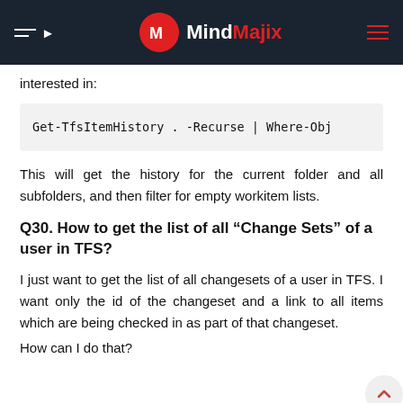MindMajix
interested in:
This will get the history for the current folder and all subfolders, and then filter for empty workitem lists.
Q30. How to get the list of all “Change Sets” of a user in TFS?
I just want to get the list of all changesets of a user in TFS. I want only the id of the changeset and a link to all items which are being checked in as part of that changeset.
How can I do that?